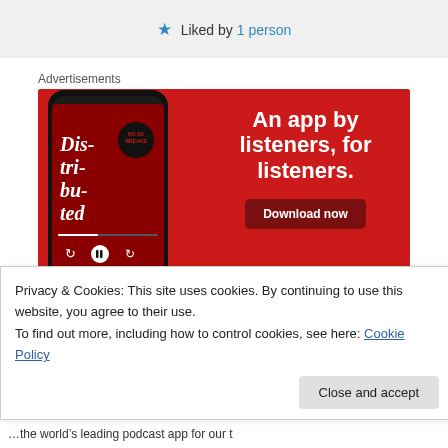★ Liked by 1 person
Advertisements
[Figure (screenshot): Advertisement banner: Red background with a smartphone showing a podcast app (Dis-tri-bu-ted episode). Text reads 'An app by listeners, for listeners.' with a 'Download now' button.]
Privacy & Cookies: This site uses cookies. By continuing to use this website, you agree to their use.
To find out more, including how to control cookies, see here: Cookie Policy
Close and accept